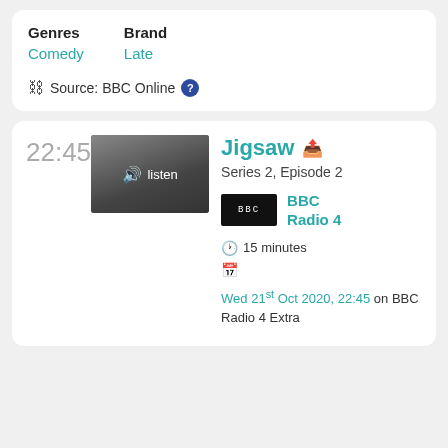Genres: Comedy | Brand: Late
Source: BBC Online
22:45
[Figure (photo): Thumbnail image of three people (band/group) with a listen button overlay]
Jigsaw
Series 2, Episode 2
[Figure (logo): BBC Radio 4 logo - black rectangle with BBC text]
BBC Radio 4
15 minutes
Wed 21st Oct 2020, 22:45 on BBC Radio 4 Extra